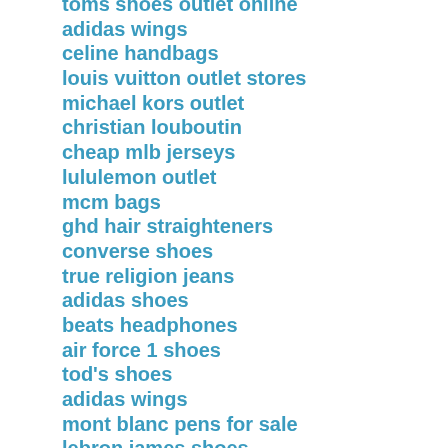toms shoes outlet online
adidas wings
celine handbags
louis vuitton outlet stores
michael kors outlet
christian louboutin
cheap mlb jerseys
lululemon outlet
mcm bags
ghd hair straighteners
converse shoes
true religion jeans
adidas shoes
beats headphones
air force 1 shoes
tod's shoes
adidas wings
mont blanc pens for sale
lebron james shoes
nfl jerseys
ferragamo belts
michael kors outlet
jordan 11